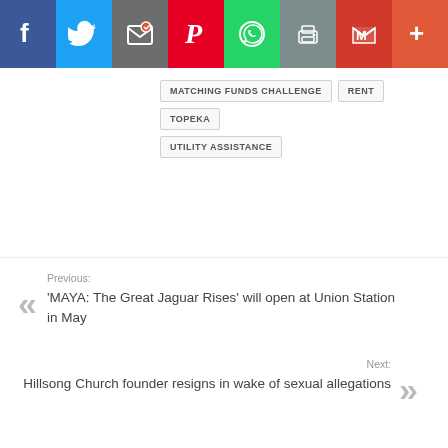[Figure (screenshot): Social media sharing toolbar with icons for Facebook, Twitter, Email, Pinterest, WhatsApp, Print, Gmail, and More buttons in their brand colors]
MATCHING FUNDS CHALLENGE
RENT
TOPEKA
UTILITY ASSISTANCE
Previous: 'MAYA: The Great Jaguar Rises' will open at Union Station in May
Next: Hillsong Church founder resigns in wake of sexual allegations